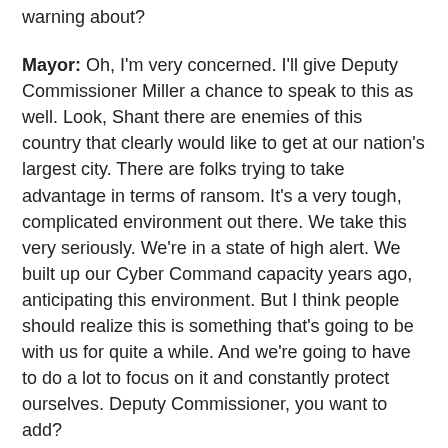warning about?
Mayor: Oh, I'm very concerned. I'll give Deputy Commissioner Miller a chance to speak to this as well. Look, Shant there are enemies of this country that clearly would like to get at our nation's largest city. There are folks trying to take advantage in terms of ransom. It's a very tough, complicated environment out there. We take this very seriously. We're in a state of high alert. We built up our Cyber Command capacity years ago, anticipating this environment. But I think people should realize this is something that's going to be with us for quite a while. And we're going to have to do a lot to focus on it and constantly protect ourselves. Deputy Commissioner, you want to add?
Deputy Commissioner Miller: Sure. So, the NYPD works very closely. The Intelligence Bureau has supervisors and detectives over at the FBI Cyber Task Force where we tackle these complex cases. Many of